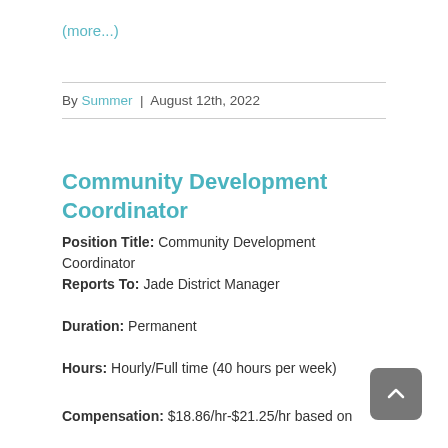(more...)
By Summer | August 12th, 2022
Community Development Coordinator
Position Title: Community Development Coordinator
Reports To: Jade District Manager
Duration: Permanent
Hours: Hourly/Full time (40 hours per week)
Compensation: $18.86/hr-$21.25/hr based on